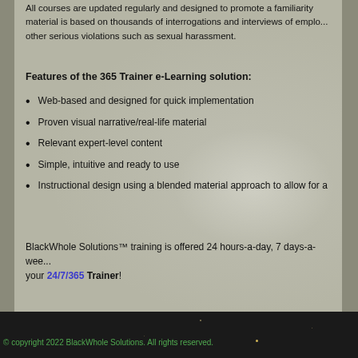All courses are updated regularly and designed to promote a familiarity with the material is based on thousands of interrogations and interviews of employees other serious violations such as sexual harassment.
Features of the 365 Trainer e-Learning solution:
Web-based and designed for quick implementation
Proven visual narrative/real-life material
Relevant expert-level content
Simple, intuitive and ready to use
Instructional design using a blended material approach to allow for a
BlackWhole Solutions™ training is offered 24 hours-a-day, 7 days-a-week your 24/7/365 Trainer!
© copyright 2022 BlackWhole Solutions. All rights reserved.